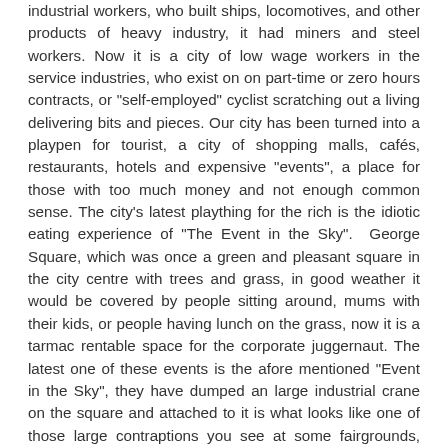industrial workers, who built ships, locomotives, and other products of heavy industry, it had miners and steel workers. Now it is a city of low wage workers in the service industries, who exist on on part-time or zero hours contracts, or "self-employed" cyclist scratching out a living delivering bits and pieces. Our city has been turned into a playpen for tourist, a city of shopping malls, cafés, restaurants, hotels and expensive "events", a place for those with too much money and not enough common sense. The city's latest plaything for the rich is the idiotic eating experience of "The Event in the Sky".  George Square, which was once a green and pleasant square in the city centre with trees and grass, in good weather it would be covered by people sitting around, mums with their kids, or people having lunch on the grass, now it is a tarmac rentable space for the corporate juggernaut. The latest one of these events is the afore mentioned "Event in the Sky", they have dumped an large industrial crane on the square and attached to it is what looks like one of those large contraptions you see at some fairgrounds, where you get swung and twirled around in, for a couple of pounds. Only this one has seats around its outer edge an island in the middle where chefs will serve you food.